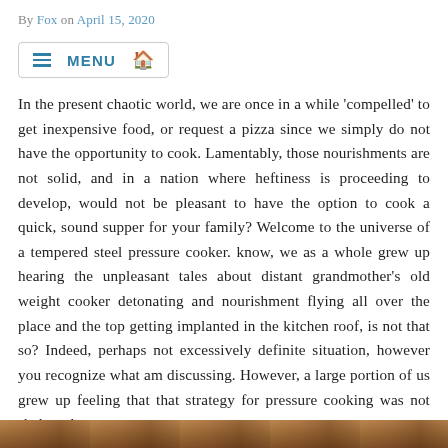By Fox on April 15, 2020
≡ MENU 🏠
In the present chaotic world, we are once in a while 'compelled' to get inexpensive food, or request a pizza since we simply do not have the opportunity to cook. Lamentably, those nourishments are not solid, and in a nation where heftiness is proceeding to develop, would not be pleasant to have the option to cook a quick, sound supper for your family? Welcome to the universe of a tempered steel pressure cooker. know, we as a whole grew up hearing the unpleasant tales about distant grandmother's old weight cooker detonating and nourishment flying all over the place and the top getting implanted in the kitchen roof, is not that so? Indeed, perhaps not excessively definite situation, however you recognize what am discussing. However, a large portion of us grew up feeling that that strategy for pressure cooking was not sheltered.
[Figure (photo): A partial image strip at the bottom of the page showing what appears to be food or cooking-related imagery in brown/warm tones.]